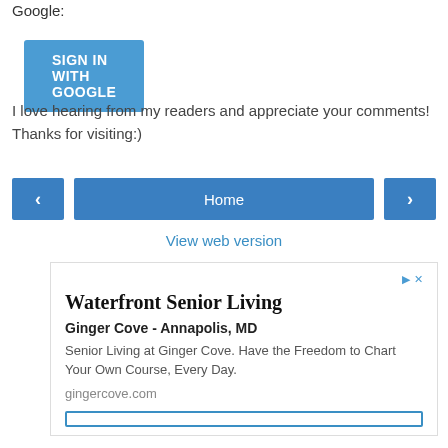Google:
[Figure (screenshot): Blue 'SIGN IN WITH GOOGLE' button]
I love hearing from my readers and appreciate your comments! Thanks for visiting:)
[Figure (screenshot): Navigation row with left arrow, Home button, and right arrow]
View web version
[Figure (screenshot): Advertisement box for Waterfront Senior Living - Ginger Cove, Annapolis MD with gingercove.com URL and a button at the bottom]